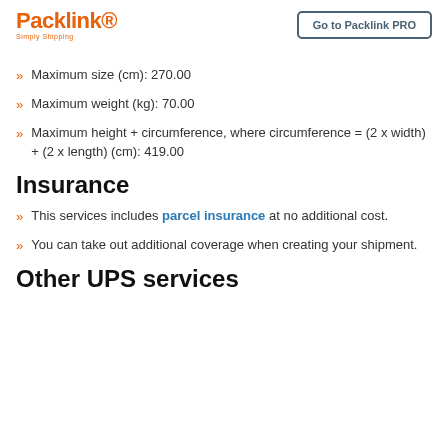Packlink® Simply Shipping | Go to Packlink PRO
Maximum size (cm): 270.00
Maximum weight (kg): 70.00
Maximum height + circumference, where circumference = (2 x width) + (2 x length) (cm): 419.00
Insurance
This services includes parcel insurance at no additional cost.
You can take out additional coverage when creating your shipment.
Other UPS services